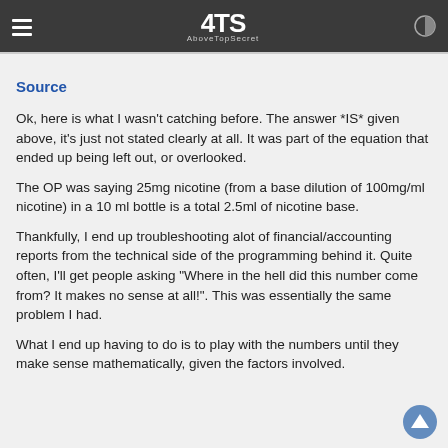AboveTopSecret
Source
Ok, here is what I wasn't catching before. The answer *IS* given above, it's just not stated clearly at all. It was part of the equation that ended up being left out, or overlooked.
The OP was saying 25mg nicotine (from a base dilution of 100mg/ml nicotine) in a 10 ml bottle is a total 2.5ml of nicotine base.
Thankfully, I end up troubleshooting alot of financial/accounting reports from the technical side of the programming behind it. Quite often, I'll get people asking "Where in the hell did this number come from? It makes no sense at all!". This was essentially the same problem I had.
What I end up having to do is to play with the numbers until they make sense mathematically, given the factors involved.